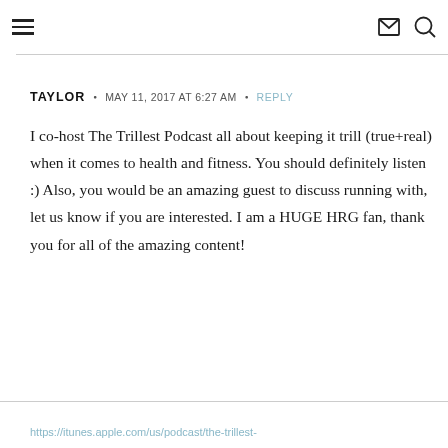≡  ✉ 🔍
TAYLOR  •  MAY 11, 2017 AT 6:27 AM  •  REPLY
I co-host The Trillest Podcast all about keeping it trill (true+real) when it comes to health and fitness. You should definitely listen :) Also, you would be an amazing guest to discuss running with, let us know if you are interested. I am a HUGE HRG fan, thank you for all of the amazing content!
https://itunes.apple.com/us/podcast/the-trillest-